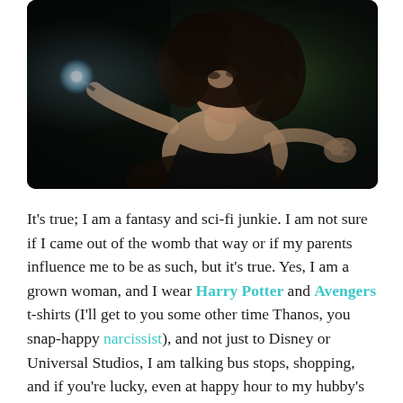[Figure (photo): A young woman with wild dark curly hair holds a wand emitting a bright glowing light in her left hand, while her right hand is extended outward. She is wearing a black strapless top. The background is dark with a green bokeh forest setting.]
It's true; I am a fantasy and sci-fi junkie. I am not sure if I came out of the womb that way or if my parents influence me to be as such, but it's true. Yes, I am a grown woman, and I wear Harry Potter and Avengers t-shirts (I'll get to you some other time Thanos, you snap-happy narcissist), and not just to Disney or Universal Studios, I am talking bus stops, shopping, and if you're lucky, even at happy hour to my hubby's